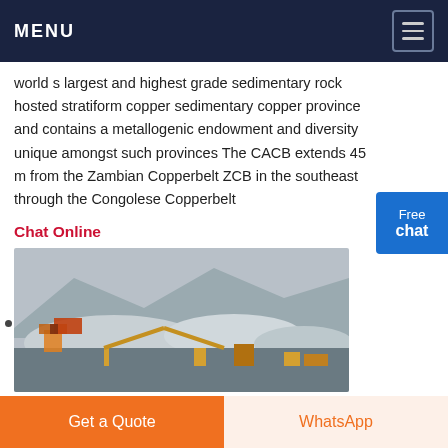MENU
world s largest and highest grade sedimentary rock hosted stratiform copper sedimentary copper province and contains a metallogenic endowment and diversity unique amongst such provinces The CACB extends 45 m from the Zambian Copperbelt ZCB in the southeast through the Congolese Copperbelt
Chat Online
[Figure (photo): Open pit copper mine with machinery, conveyor belts and ore piles in mountainous terrain]
Get a Quote
WhatsApp